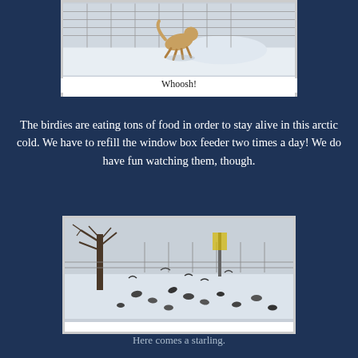[Figure (photo): Dog running or playing in snow near a chain-link fence, viewed from above/side]
Whoosh!
The birdies are eating tons of food in order to stay alive in this arctic cold. We have to refill the window box feeder two times a day! We do have fun watching them, though.
[Figure (photo): Birds (starlings and others) scattered on snow-covered ground near a bare tree and chain-link fence]
Here comes a starling.